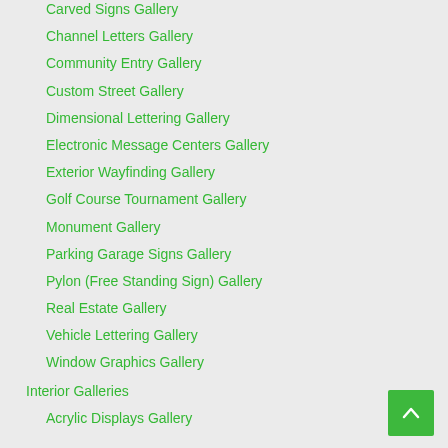Carved Signs Gallery
Channel Letters Gallery
Community Entry Gallery
Custom Street Gallery
Dimensional Lettering Gallery
Electronic Message Centers Gallery
Exterior Wayfinding Gallery
Golf Course Tournament Gallery
Monument Gallery
Parking Garage Signs Gallery
Pylon (Free Standing Sign) Gallery
Real Estate Gallery
Vehicle Lettering Gallery
Window Graphics Gallery
Interior Galleries
Acrylic Displays Gallery